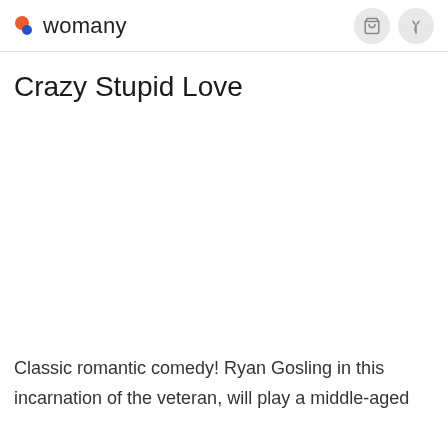womany
Crazy Stupid Love
Classic romantic comedy! Ryan Gosling in this incarnation of the veteran, will play a middle-aged